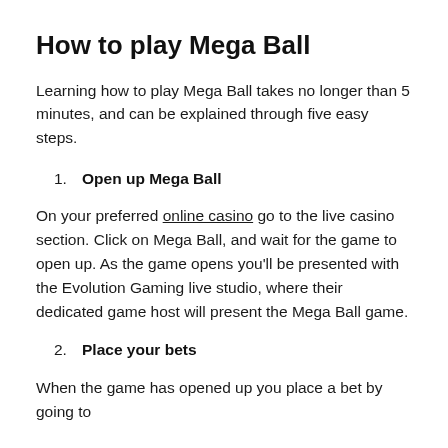How to play Mega Ball
Learning how to play Mega Ball takes no longer than 5 minutes, and can be explained through five easy steps.
1. Open up Mega Ball
On your preferred online casino go to the live casino section. Click on Mega Ball, and wait for the game to open up. As the game opens you'll be presented with the Evolution Gaming live studio, where their dedicated game host will present the Mega Ball game.
2. Place your bets
When the game has opened up you place a bet by going to